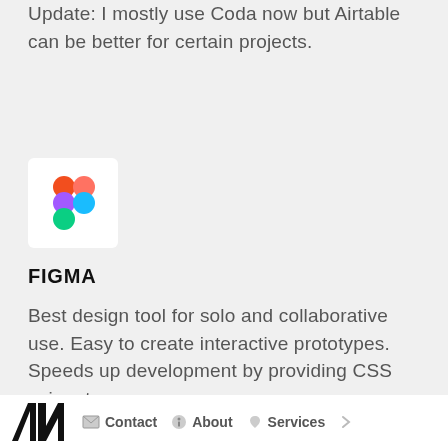Update: I mostly use Coda now but Airtable can be better for certain projects.
[Figure (logo): Figma app icon — white rounded square background with Figma logo (colored circles and shapes in red, purple, blue, green)]
FIGMA
Best design tool for solo and collaborative use. Easy to create interactive prototypes. Speeds up development by providing CSS snippets.
AN  Contact  About  Services